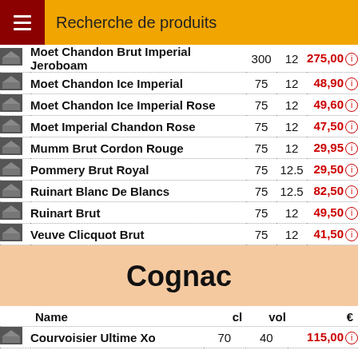Recherche de produits
|  | Name | cl | vol | € |
| --- | --- | --- | --- | --- |
| [img] | Moet Chandon Brut Imperial Jeroboam | 300 | 12 | 275,00 |
| [img] | Moet Chandon Ice Imperial | 75 | 12 | 48,90 |
| [img] | Moet Chandon Ice Imperial Rose | 75 | 12 | 49,60 |
| [img] | Moet Imperial Chandon Rose | 75 | 12 | 47,50 |
| [img] | Mumm Brut Cordon Rouge | 75 | 12 | 29,95 |
| [img] | Pommery Brut Royal | 75 | 12.5 | 29,50 |
| [img] | Ruinart Blanc De Blancs | 75 | 12.5 | 82,50 |
| [img] | Ruinart Brut | 75 | 12 | 49,50 |
| [img] | Veuve Clicquot Brut | 75 | 12 | 41,50 |
Cognac
|  | Name | cl | vol | € |
| --- | --- | --- | --- | --- |
| [img] | Courvoisier Ultime Xo | 70 | 40 | 115,00 |